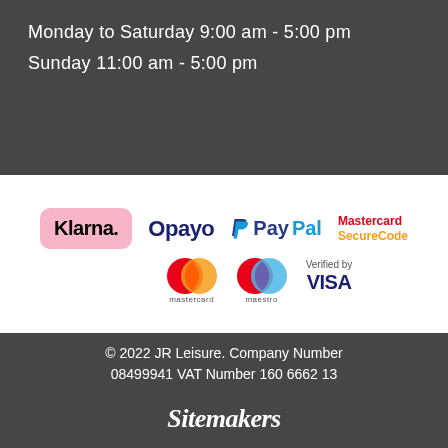Monday to Saturday 9:00 am - 5:00 pm
Sunday 11:00 am - 5:00 pm
[Figure (logo): Payment method logos: Klarna, Opayo, PayPal, Mastercard SecureCode, Mastercard, Maestro, Verified by VISA]
© 2022 JR Leisure. Company Number 08499941 VAT Number 160 6662 13
[Figure (logo): Sitemakers logo in white script font]